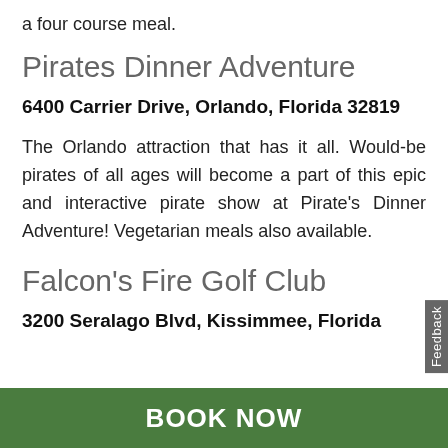a four course meal.
Pirates Dinner Adventure
6400 Carrier Drive, Orlando, Florida 32819
The Orlando attraction that has it all. Would-be pirates of all ages will become a part of this epic and interactive pirate show at Pirate's Dinner Adventure! Vegetarian meals also available.
Falcon's Fire Golf Club
3200 Seralago Blvd, Kissimmee, Florida
BOOK NOW